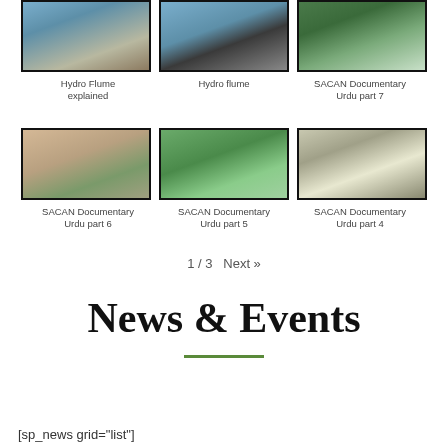[Figure (photo): Thumbnail image of water flowing from a pipe - Hydro Flume explained]
Hydro Flume explained
[Figure (photo): Thumbnail image of a dark pipe on tiles - Hydro flume]
Hydro flume
[Figure (photo): Thumbnail image of people with green tarp - SACAN Documentary Urdu part 7]
SACAN Documentary Urdu part 7
[Figure (photo): Thumbnail image of pipe on sandy ground - SACAN Documentary Urdu part 6]
SACAN Documentary Urdu part 6
[Figure (photo): Thumbnail image of sprinkler on green grass - SACAN Documentary Urdu part 5]
SACAN Documentary Urdu part 5
[Figure (photo): Thumbnail image of people with water spray - SACAN Documentary Urdu part 4]
SACAN Documentary Urdu part 4
1 / 3   Next »
News & Events
[sp_news grid="list"]